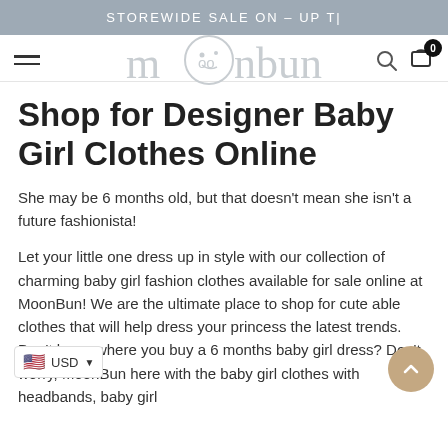STOREWIDE SALE ON - UP T|
[Figure (logo): MoonBun logo with stylized text and moon face circle]
Shop for Designer Baby Girl Clothes Online
She may be 6 months old, but that doesn't mean she isn't a future fashionista!
Let your little one dress up in style with our collection of charming baby girl fashion clothes available for sale online at MoonBun! We are the ultimate place to shop for cute able clothes that will help dress your princess the latest trends. Don't know where you buy a 6 months baby girl dress? Don't worry, MoonBun here with the baby girl clothes with headbands, baby girl